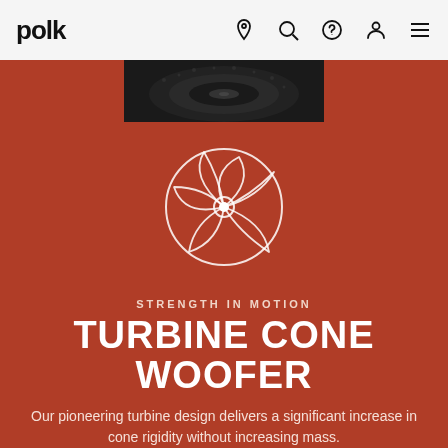polk
[Figure (photo): Close-up photo of a black speaker woofer cone, dark textured surface visible on red/terracotta background]
[Figure (illustration): Turbine cone woofer logo illustration — circular turbine blade pattern in white outline on terracotta/red background]
STRENGTH IN MOTION
TURBINE CONE WOOFER
Our pioneering turbine design delivers a significant increase in cone rigidity without increasing mass.